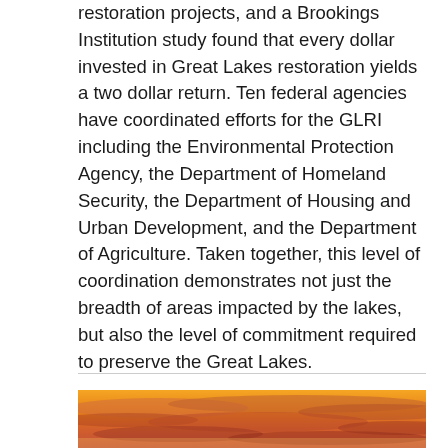restoration projects, and a Brookings Institution study found that every dollar invested in Great Lakes restoration yields a two dollar return. Ten federal agencies have coordinated efforts for the GLRI including the Environmental Protection Agency, the Department of Homeland Security, the Department of Housing and Urban Development, and the Department of Agriculture. Taken together, this level of coordination demonstrates not just the breadth of areas impacted by the lakes, but also the level of commitment required to preserve the Great Lakes.
[Figure (photo): Sunset or sunrise photograph showing warm orange and golden sky with clouds over a lake or horizon.]